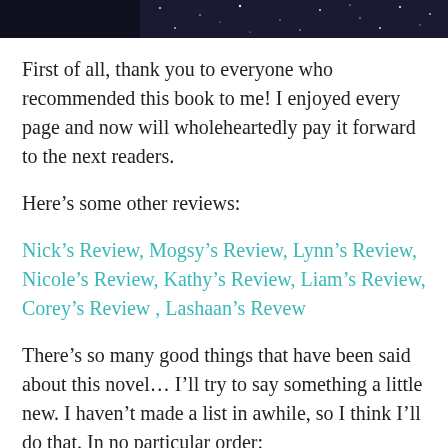[Figure (photo): Dark night sky image strip at top of page]
First of all, thank you to everyone who recommended this book to me! I enjoyed every page and now will wholeheartedly pay it forward to the next readers.
Here’s some other reviews:
Nick’s Review, Mogsy’s Review, Lynn’s Review, Nicole’s Review, Kathy’s Review, Liam’s Review, Corey’s Review , Lashaan’s Revew
There’s so many good things that have been said about this novel… I’ll try to say something a little new. I haven’t made a list in awhile, so I think I’ll do that. In no particular order: